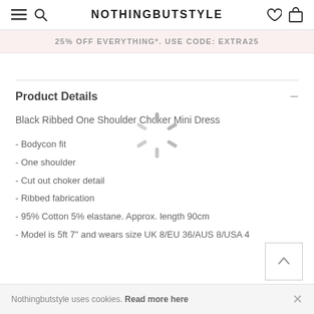NOTHINGBUTSTYLE
25% OFF EVERYTHING*. USE CODE: EXTRA25
Product Details
Black Ribbed One Shoulder Choker Mini Dress
- Bodycon fit
- One shoulder
- Cut out choker detail
- Ribbed fabrication
- 95% Cotton 5% elastane. Approx. length 90cm
- Model is 5ft 7" and wears size UK 8/EU 36/AUS 8/USA 4
Nothingbutstyle uses cookies. Read more here